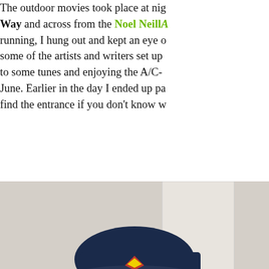The outdoor movies took place at night along the Way and across from the Noel Neill/... running, I hung out and kept an eye on some of the artists and writers set up to some tunes and enjoying the A/C- June. Earlier in the day I ended up p- find the entrance if you don't know w-
[Figure (photo): A man wearing a Superman baseball cap, black glasses, a red Superman t-shirt, sitting at a table and holding a Superman comic book that he appears to be signing. He has a beard and is smiling at the camera.]
Karla offered me a table to hang out-